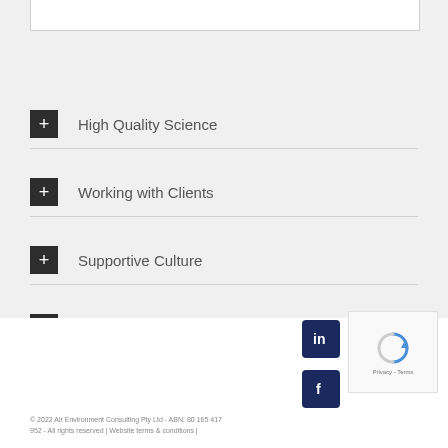High Quality Science
Working with Clients
Supportive Culture
Working in the Community
© 2022 Air Environment Consulting Pty Ltd - ABN: 80 165 417 952 - All rights reserved | Website terms & conditions |